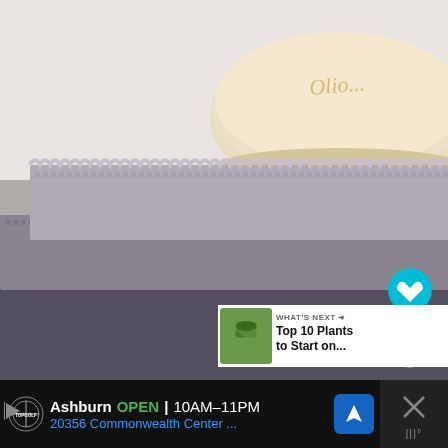[Figure (photo): Close-up photo of stacked grey waffle-knit washcloths/towels with a round cream-colored olive soap bar resting on top. The towels are folded and stacked, showing texture. Background is light grey/white. A teal heart (like) button and a white share button overlay the right side. A 'What's Next' overlay shows a thumbnail of plants with text 'Top 10 Plants to Start on...' A screenshot of a mobile interface.]
WHAT'S NEXT → Top 10 Plants to Start on...
Ashburn OPEN 10AM–11PM 20356 Commonwealth Center ...